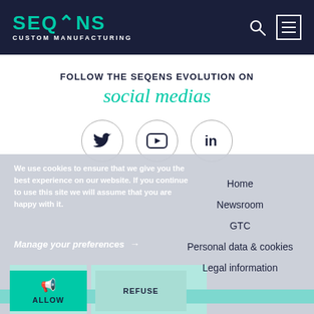[Figure (logo): Seqens Custom Manufacturing logo with teal text on dark navy background]
FOLLOW THE SEQENS EVOLUTION ON
social medias
[Figure (illustration): Three circular social media icons: Twitter bird, YouTube play button, LinkedIn 'in' logo]
We use cookies to ensure that we give you the best experience on our website. If you continue to use this site we will assume that you are happy with it.
Manage your preferences →
Home
Newsroom
GTC
Personal data & cookies
Legal information
ALLOW
REFUSE
Privacy policy